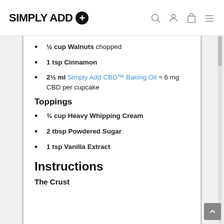SIMPLY ADD + [logo with navigation icons: search, user, bag, menu]
½ cup Walnuts chopped
1 tsp Cinnamon
2½ ml Simply Add CBD™ Baking Oil ≈ 6 mg CBD per cupcake
Toppings
¾ cup Heavy Whipping Cream
2 tbsp Powdered Sugar
1 tsp Vanilla Extract
Instructions
The Crust